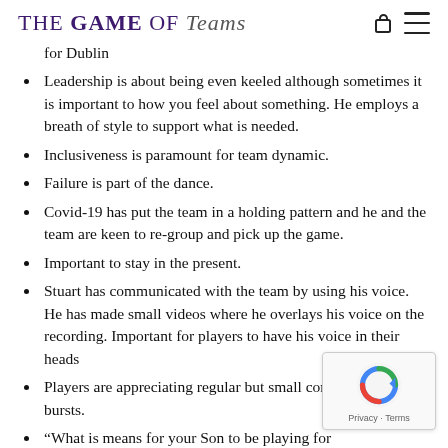THE GAME OF Teams
for Dublin
Leadership is about being even keeled although sometimes it is important to how you feel about something. He employs a breath of style to support what is needed.
Inclusiveness is paramount for team dynamic.
Failure is part of the dance.
Covid-19 has put the team in a holding pattern and he and the team are keen to re-group and pick up the game.
Important to stay in the present.
Stuart has communicated with the team by using his voice. He has made small videos where he overlays his voice on the recording. Important for players to have his voice in their heads
Players are appreciating regular but small communication bursts.
“What is means for your Son to be playing for